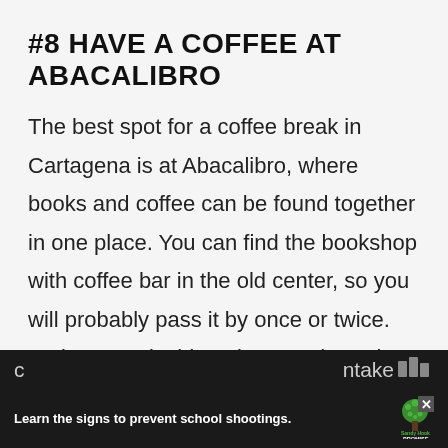#8 HAVE A COFFEE AT ABACALIBRO
The best spot for a coffee break in Cartagena is at Abacalibro, where books and coffee can be found together in one place. You can find the bookshop with coffee bar in the old center, so you will probably pass it by once or twice. So just step inside to browse through the books and enjoy a delicious coffee or chai latte inside or on the small terrace outside. The
[Figure (other): Sandy Hook Promise advertisement banner: 'Learn the signs to prevent school shootings.' with Sandy Hook Promise logo (green tree icon)]
c ... ntake